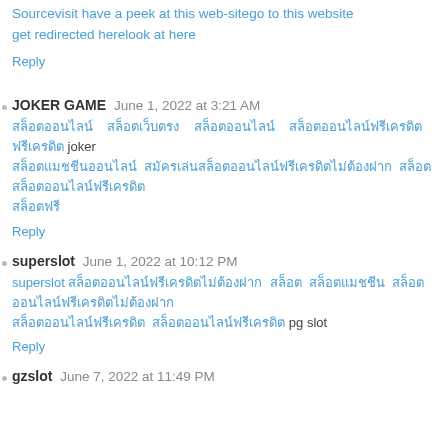Sourcevisit have a peek at this web-sitego to this website get redirected herelook at here
Reply
JOKER GAME June 1, 2022 at 3:21 AM
Thai text joker Thai text Thai text
Reply
superslot June 1, 2022 at 10:12 PM
superslot Thai text pg slot
Reply
gzslot June 7, 2022 at 11:49 PM